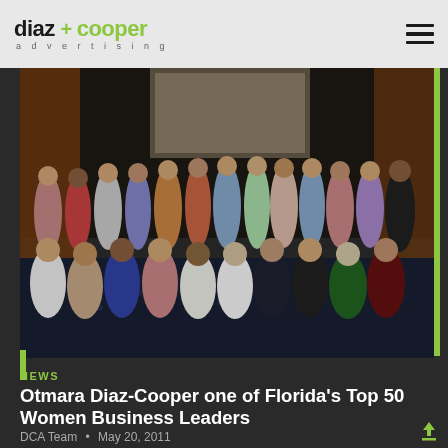diaz + cooper advertising
[Figure (photo): Group photo of approximately 30 women posed together at a formal event, seated and standing in rows, in a banquet hall setting.]
NEWS
Otmara Diaz-Cooper one of Florida's Top 50 Women Business Leaders
DCA Team  •  May 20, 2011